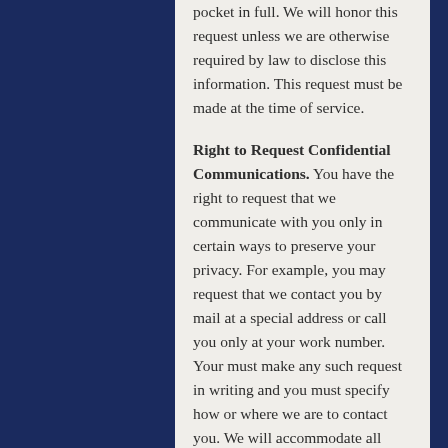pocket in full. We will honor this request unless we are otherwise required by law to disclose this information. This request must be made at the time of service.
Right to Request Confidential Communications. You have the right to request that we communicate with you only in certain ways to preserve your privacy. For example, you may request that we contact you by mail at a special address or call you only at your work number. Your must make any such request in writing and you must specify how or where we are to contact you. We will accommodate all reasonable requests. We will not ask you the reason for your request.